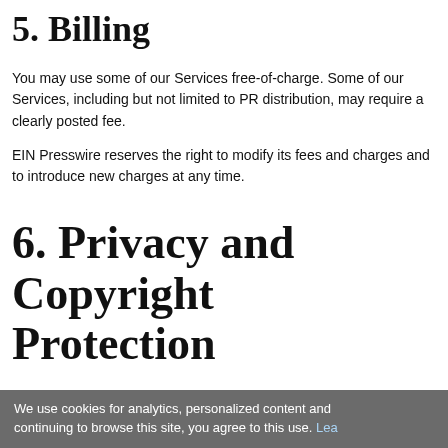5. Billing
You may use some of our Services free-of-charge. Some of our Services, including but not limited to PR distribution, may require a clearly posted fee.
EIN Presswire reserves the right to modify its fees and charges and to introduce new charges at any time.
6. Privacy and Copyright Protection
EIN Presswire Privacy Policy explains how we treat your personal data and protect your privacy when you use our Services.
Some of our Services allow you to submit or store content. You
We use cookies for analytics, personalized content and continuing to browse this site, you agree to this use. Lea